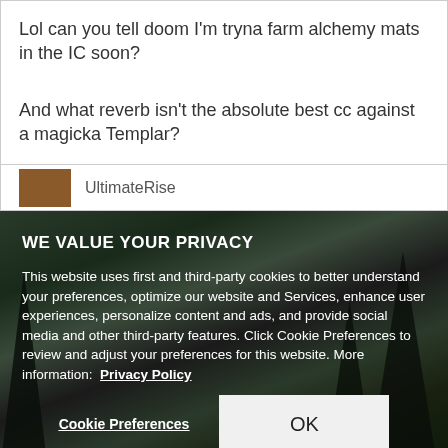Lol can you tell doom I'm tryna farm alchemy mats in the IC soon?
And what reverb isn't the absolute best cc against a magicka Templar?
UltimateRise
WE VALUE YOUR PRIVACY
This website uses first and third-party cookies to better understand your preferences, optimize our website and Services, enhance user experiences, personalize content and ads, and provide social media and other third-party features. Click Cookie Preferences to review and adjust your preferences for this website. More information:  Privacy Policy
Cookie Preferences
OK